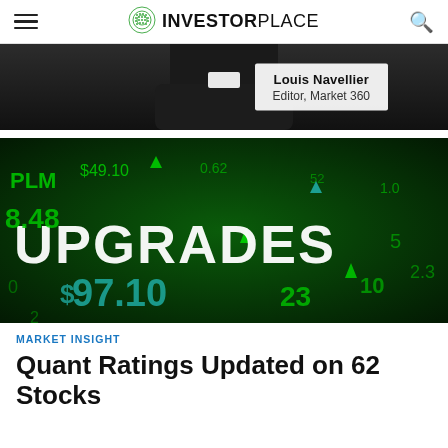INVESTORPLACE
[Figure (photo): Louis Navellier, Editor of Market 360, person photo with name label overlay]
[Figure (photo): Stock market display board showing the word UPGRADES in large white letters with green glowing stock ticker numbers and symbols on a dark green background]
MARKET INSIGHT
Quant Ratings Updated on 62 Stocks